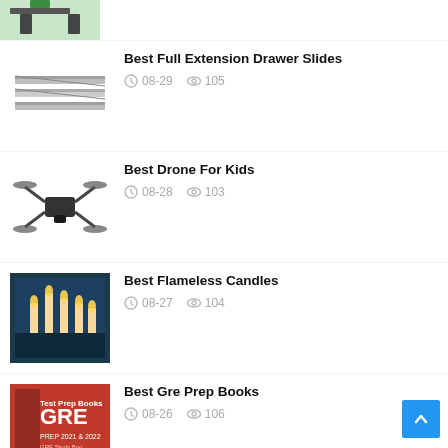[Figure (photo): Partial image of person at standing desk (cropped top)]
Best Full Extension Drawer Slides — 08-29 — 105 views
Best Drone For Kids — 08-28 — 103 views
Best Flameless Candles — 08-27 — 104 views
Best Gre Prep Books — 08-26 — 106 views